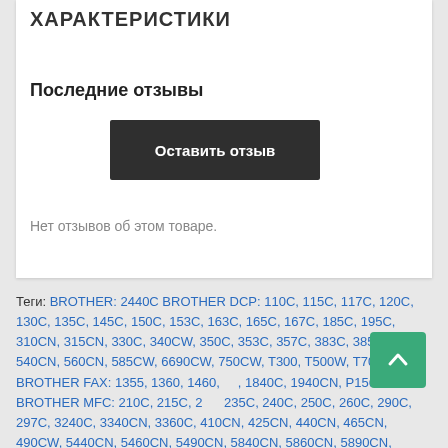ХАРАКТЕРИСТИКИ
Последние отзывы
Оставить отзыв
Нет отзывов об этом товаре.
Теги: BROTHER: 2440C BROTHER DCP: 110C, 115C, 117C, 120C, 130C, 135C, 145C, 150C, 153C, 163C, 165C, 167C, 185C, 195C, 310CN, 315CN, 330C, 340CW, 350C, 353C, 357C, 383C, 385C, 387C, 540CN, 560CN, 585CW, 6690CW, 750CW, T300, T500W, T700W BROTHER FAX: 1355, 1360, 1460, 1840C, 1940CN, P1560 BROTHER MFC: 210C, 215C, 235C, 240C, 250C, 260C, 290C, 297C, 3240C, 3340CN, 3360C, 410CN, 425CN, 440CN, 465CN, 490CW, 5440CN, 5460CN, 5490CN, 5840CN, 5860CN, 5890CN, 620CN, 640CW, 6490CW, 660CN, 680CN, 790CW, 820CW, 845CW, 885CW, 990CW EPSON